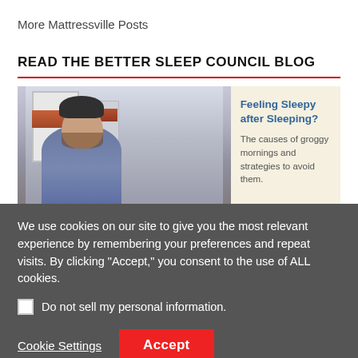More Mattressville Posts
READ THE BETTER SLEEP COUNCIL BLOG
[Figure (photo): Man looking groggy/sleepy, sitting in front of a window with a cityscape background]
Feeling Sleepy after Sleeping?
The causes of groggy mornings and strategies to avoid them.
We use cookies on our site to give you the most relevant experience by remembering your preferences and repeat visits. By clicking "Accept," you consent to the use of ALL cookies.
Do not sell my personal information.
Cookie Settings
Accept